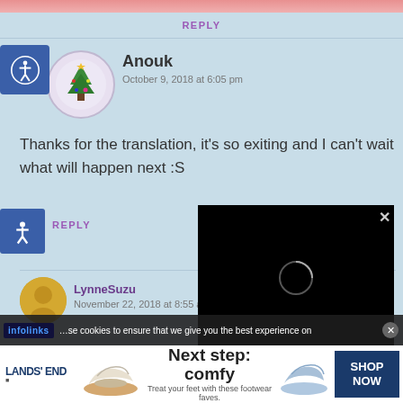[Figure (screenshot): Pink gradient bar at top of page]
REPLY
[Figure (photo): User avatar of Anouk - Christmas tree illustration in circular frame]
Anouk
October 9, 2018 at 6:05 pm
Thanks for the translation, it's so exiting and I can't wait what will happen next :S
REPLY
[Figure (screenshot): Black video player overlay with loading spinner and close button X]
[Figure (photo): Partial avatar of LynneSuzu commenter - gold/tan colored]
LynneSuzu
November 22, 2018 at 8:55 am
…se cookies to ensure that we give you the best experience on
[Figure (logo): infolinks logo badge]
[Figure (screenshot): Lands End advertisement: Next step: comfy. Treat your feet with these footwear faves. SHOP NOW]